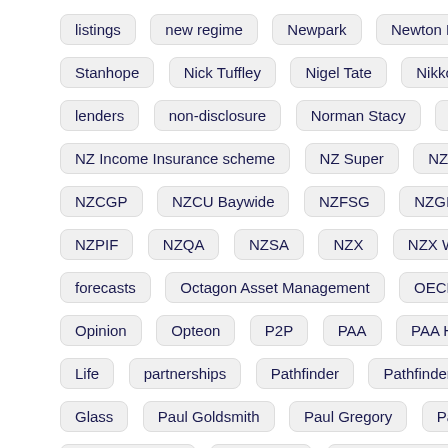listings
new regime
Newpark
Newton Ross
Ngāi Tahu
Stanhope
Nick Tuffley
Nigel Tate
Nikko AM
nominated
lenders
non-disclosure
Norman Stacy
Northern Trust
N
NZ Income Insurance scheme
NZ Super
NZ Super Fund
NZCGP
NZCU Baywide
NZFSG
NZGIF
NZHL
NZI
NZPIF
NZQA
NZSA
NZX
NZX Wealth Technologies
forecasts
Octagon Asset Management
OECD
office space
Opinion
Opteon
P2P
PAA
PAA Holiday Homes
Pai
Life
partnerships
Pathfinder
Pathfinder Asset Management
Glass
Paul Goldsmith
Paul Gregory
Paul Huxford
PDS
to Peer Lending
Pencarrow
pension transfers
people
P